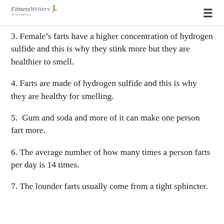FitnessWriters Association
3. Female’s farts have a higher concentration of hydrogen sulfide and this is why they stink more but they are healthier to smell.
4. Farts are made of hydrogen sulfide and this is why they are healthy for smelling.
5.  Gum and soda and more of it can make one person fart more.
6. The average number of how many times a person farts per day is 14 times.
7. The lounder farts usually come from a tight sphincter.